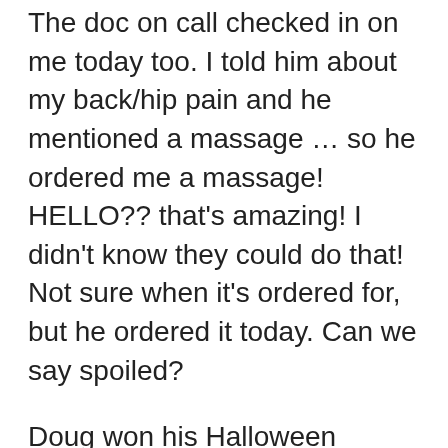The doc on call checked in on me today too. I told him about my back/hip pain and he mentioned a massage … so he ordered me a massage!  HELLO??  that's amazing!  I didn't know they could do that!  Not sure when it's ordered for, but he ordered it today.  Can we say spoiled?
Doug won his Halloween costume contest at work!!!  $300 baby!  I think we are going to buy a freezer with it for when I nurse and when we have 4 teenage boys to feed.  I was so proud of him and his costume was so good!  He sounded just like Billy Mayes!